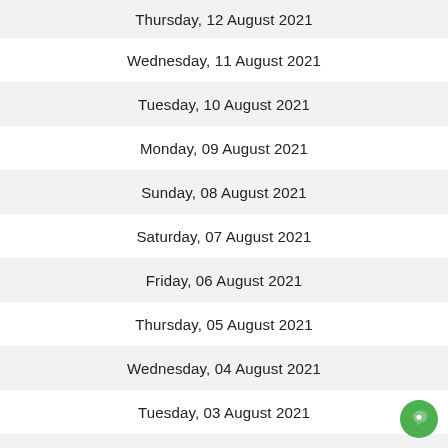Thursday, 12 August 2021
Wednesday, 11 August 2021
Tuesday, 10 August 2021
Monday, 09 August 2021
Sunday, 08 August 2021
Saturday, 07 August 2021
Friday, 06 August 2021
Thursday, 05 August 2021
Wednesday, 04 August 2021
Tuesday, 03 August 2021